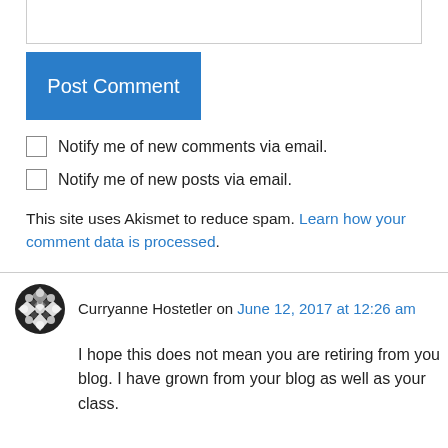[Figure (screenshot): Empty text input box (comment textarea), partially visible at top of page]
Post Comment
Notify me of new comments via email.
Notify me of new posts via email.
This site uses Akismet to reduce spam. Learn how your comment data is processed.
Curryanne Hostetler on June 12, 2017 at 12:26 am
I hope this does not mean you are retiring from you blog. I have grown from your blog as well as your class.